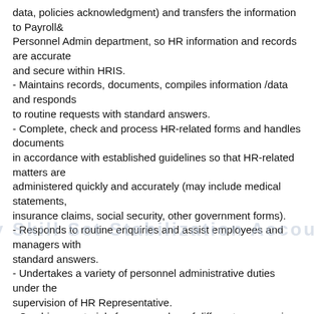data, policies acknowledgment) and transfers the information to Payroll& Personnel Admin department, so HR information and records are accurate and secure within HRIS.
- Maintains records, documents, compiles information /data and responds to routine requests with standard answers.
- Complete, check and process HR-related forms and handles documents in accordance with established guidelines so that HR-related matters are administered quickly and accurately (may include medical statements, insurance claims, social security, other government forms).
- Responds to routine enquiries and assist employees and managers with standard answers.
- Undertakes a variety of personnel administrative duties under the supervision of HR Representative.
- Combines materials from a number of different sources, in order to produce reports in the requested format.
- The employee may be assigned other duties, in addition to, or in lieu of those described above, according to the needs of the location or Company.
Requirements:
Preferably Certified Human Resources Specialist (Labor legislation and personnel administration).
Able to work in a fast-paced environment.
Proves intercultural adaptability and sensitivity.
Loyalty, commitment, engagement and confidentiality of any information pertaining to the company or its employees.
Excellent communication skills and the ability to interact with all organizational levels.
Required to handle a large volume of work and data entry.
What we offer:
Your internship would be a paid program, with a labour contract for a